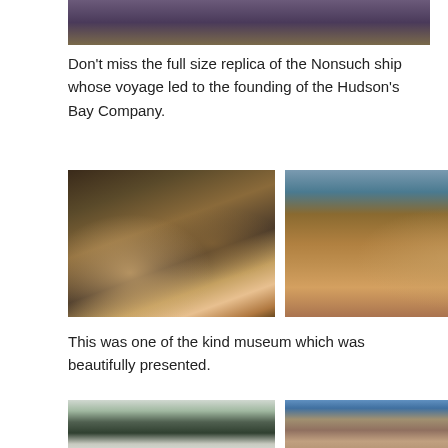[Figure (photo): Partial photo at top showing people in a dark/purple-toned environment]
Don't miss the full size replica of the Nonsuch ship whose voyage led to the founding of the Hudson's Bay Company.
[Figure (photo): Two people (a woman and a man with a cap) posing in front of a large ship replica in a museum]
[Figure (photo): Close-up of a tall ship replica with rigging and sails, a person standing in front of it in a museum setting]
This was one of the kind museum which was beautifully presented.
[Figure (photo): Snowy forest landscape with tall trees]
[Figure (photo): Aerial or hillside view of a settlement or construction area with blue sky]